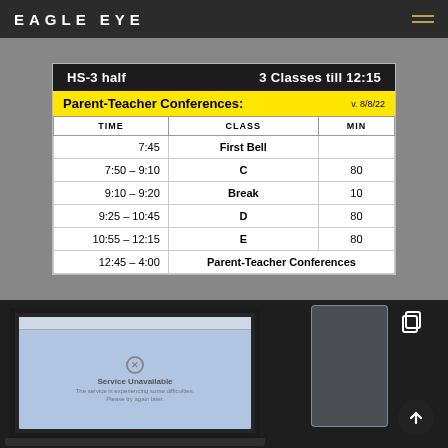EAGLE EYE
| TIME | CLASS | MIN |
| --- | --- | --- |
| 7:45 | First Bell |  |
| 7:50 – 9:10 | C | 80 |
| 9:10 – 9:20 | Break | 10 |
| 9:25 – 10:45 | D | 80 |
| 10:55 – 12:15 | E | 80 |
| 12:45 – 4:00 | Parent-Teacher Conferences |  |
[Figure (screenshot): Laptop screen showing a web browser with a 'Service Unavailable' error page on a blue background, with a glass of water visible to the right.]